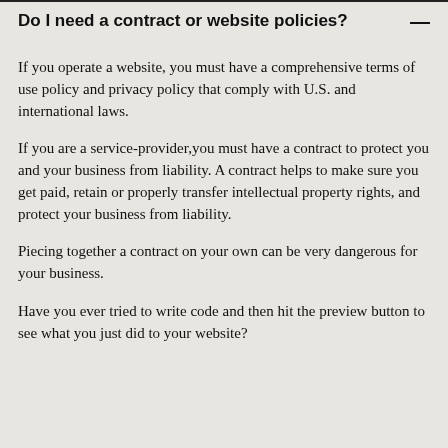Do I need a contract or website policies?
If you operate a website, you must have a comprehensive terms of use policy and privacy policy that comply with U.S. and international laws.
If you are a service-provider,you must have a contract to protect you and your business from liability. A contract helps to make sure you get paid, retain or properly transfer intellectual property rights, and protect your business from liability.
Piecing together a contract on your own can be very dangerous for your business.
Have you ever tried to write code and then hit the preview button to see what you just did to your website?